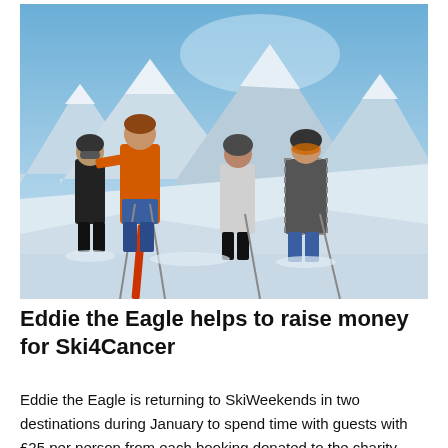[Figure (photo): Four people in ski gear posing on a snow-covered mountain slope with snowy peaks and blue sky in the background. From left: person in black jacket with ski goggles, person in orange jacket holding ski poles, person in white/grey jacket with helmet, person in plaid jacket with orange goggles.]
Eddie the Eagle helps to raise money for Ski4Cancer
Eddie the Eagle is returning to SkiWeekends in two destinations during January to spend time with guests with £25 per person from each booking donated to the charity